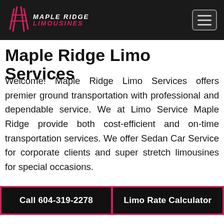Maple Ridge Limousines
Maple Ridge Limo Services
Welcome! Maple Ridge Limo Services offers premier ground transportation with professional and dependable service. We at Limo Service Maple Ridge provide both cost-efficient and on-time transportation services. We offer Sedan Car Service for corporate clients and super stretch limousines for special occasions.
Call 604-319-2278
Limo Rate Calculator